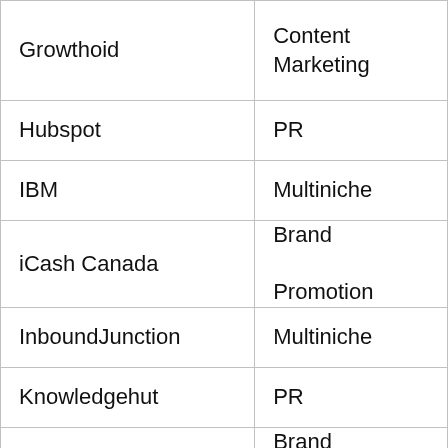| Growthoid | Content Marketing |
| Hubspot | PR |
| IBM | Multiniche |
| iCash Canada | Brand Promotion |
| InboundJunction | Multiniche |
| Knowledgehut | PR |
| Lawclerk | Brand Promotion |
| Loganix | Multiniche |